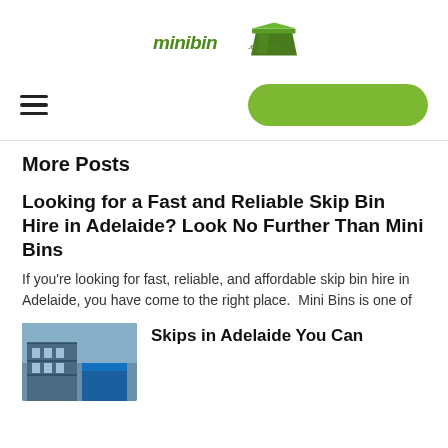[Figure (logo): minibin.com.au logo with green skip bin graphic and stylized text]
[Figure (other): Navigation bar with hamburger menu icon on left and green rounded CTA button on right]
More Posts
Looking for a Fast and Reliable Skip Bin Hire in Adelaide? Look No Further Than Mini Bins
If you’re looking for fast, reliable, and affordable skip bin hire in Adelaide, you have come to the right place.  Mini Bins is one of
[Figure (photo): Thumbnail photo of blue skip bins / scaffolding on construction site]
Skips in Adelaide You Can